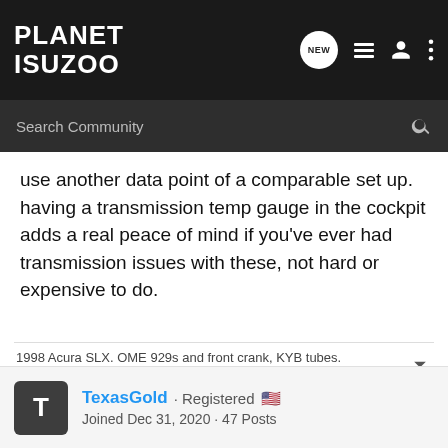PLANET ISUZOO
use another data point of a comparable set up. having a transmission temp gauge in the cockpit adds a real peace of mind if you've ever had transmission issues with these, not hard or expensive to do.
1998 Acura SLX. OME 929s and front crank, KYB tubes. Retro'd Aisin manual front hubs.
TexasGold
TexasGold · Registered
Joined Dec 31, 2020 · 47 Posts